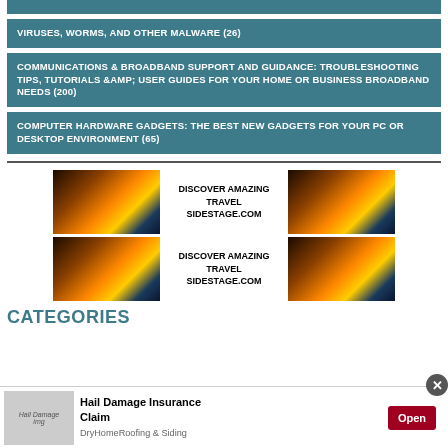VIRUSES, WORMS, AND OTHER MALWARE (26)
COMMUNICATIONS & BROADBAND SUPPORT AND GUIDANCE: TROUBLESHOOTING TIPS, TUTORIALS &AMP; USER GUIDES FOR YOUR HOME OR BUSINESS BROADBAND NEEDS (200)
COMPUTER HARDWARE GADGETS: THE BEST NEW GADGETS FOR YOUR PC OR DESKTOP ENVIRONMENT (65)
[Figure (infographic): Advertisement banner with two rows of travel ads showing sunset landscape photos with text 'DISCOVER AMAZING TRAVEL SIDESTAGE.COM']
CATEGORIES
[Figure (infographic): Bottom advertisement bar: Hail Damage Insurance Claim ad with Open button, from DryHomeRoofing & Siding]